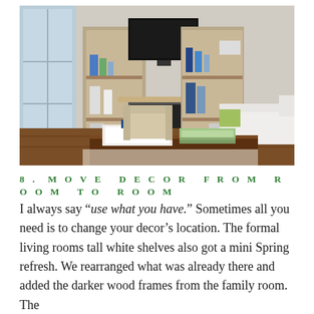[Figure (photo): Interior living room with a stone fireplace wall, flat screen TV mounted above fireplace, built-in wooden bookshelves on either side, beige armchair on left, white slipcovered sofa on right, dark wood coffee table in foreground with decorative tray and books, large window on left, hardwood floors.]
8. MOVE DECOR FROM ROOM TO ROOM
I always say “use what you have.” Sometimes all you need is to change your decor’s location. The formal living rooms tall white shelves also got a mini Spring refresh. We rearranged what was already there and added the darker wood frames from the family room. The…